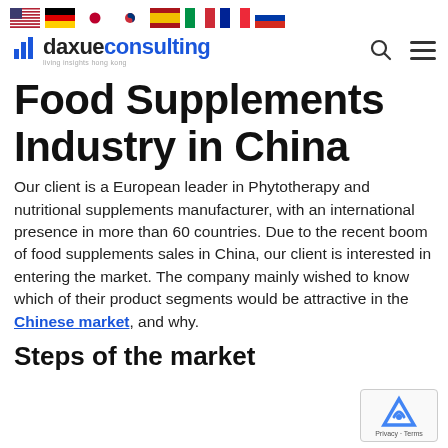Flag icons: US, Germany, Japan, South Korea, Spain, Italy, France, Russia
[Figure (logo): Daxue Consulting logo with bar chart icon, tagline: living insights hong kong]
Food Supplements Industry in China
Our client is a European leader in Phytotherapy and nutritional supplements manufacturer, with an international presence in more than 60 countries. Due to the recent boom of food supplements sales in China, our client is interested in entering the market. The company mainly wished to know which of their product segments would be attractive in the Chinese market, and why.
Steps of the market